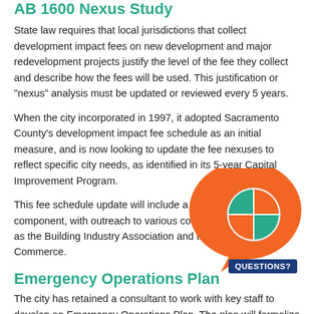AB 1600 Nexus Study
State law requires that local jurisdictions that collect development impact fees on new development and major redevelopment projects justify the level of the fee they collect and describe how the fees will be used. This justification or "nexus" analysis must be updated or reviewed every 5 years.
When the city incorporated in 1997, it adopted Sacramento County's development impact fee schedule as an initial measure, and is now looking to update the fee nexuses to reflect specific city needs, as identified in its 5-year Capital Improvement Program.
This fee schedule update will include a public participation component, with outreach to various constituency groups, such as the Building Industry Association and the local Chamber of Commerce.
[Figure (illustration): Orange speech bubble with a circular logo inside containing teal and orange quadrants, and a blue 'QUESTIONS?' badge below]
Emergency Operations Plan
The city has retained a consultant to work with key staff to develop an Emergency Operations Plan. The plan will formalize staff functions and protocols for responding to